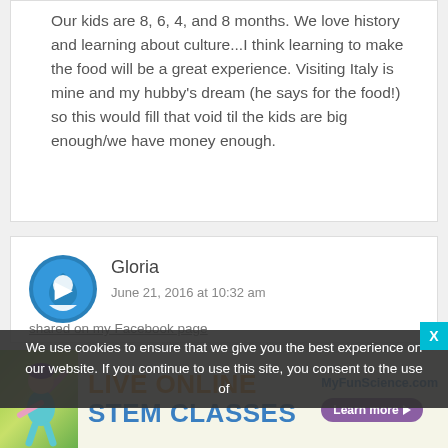Our kids are 8, 6, 4, and 8 months. We love history and learning about culture...I think learning to make the food will be a great experience. Visiting Italy is mine and my hubby's dream (he says for the food!) so this would fill that void til the kids are big enough/we have money enough.
Gloria
June 21, 2016 at 10:32 am
shared on my Facebook page
We use cookies to ensure that we give you the best experience on our website. If you continue to use this site, you consent to the use of
[Figure (infographic): MyFunScience.com advertisement banner with LIVE ONLINE STEM CLASSES text, a person illustration, and Learn more button]